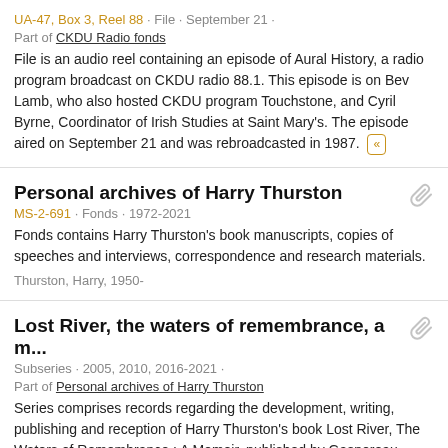UA-47, Box 3, Reel 88 · File · September 21 · Part of CKDU Radio fonds
File is an audio reel containing an episode of Aural History, a radio program broadcast on CKDU radio 88.1. This episode is on Bev Lamb, who also hosted CKDU program Touchstone, and Cyril Byrne, Coordinator of Irish Studies at Saint Mary's. The episode aired on September 21 and was rebroadcasted in 1987. «
Personal archives of Harry Thurston
MS-2-691 · Fonds · 1972-2021
Fonds contains Harry Thurston's book manuscripts, copies of speeches and interviews, correspondence and research materials.
Thurston, Harry, 1950-
Lost River, the waters of remembrance, a m...
Subseries · 2005, 2010, 2016-2021 · Part of Personal archives of Harry Thurston
Series comprises records regarding the development, writing, publishing and reception of Harry Thurston's book Lost River, The Waters of Remembrance : A Memoir, published by Gaspereau Press. Records types include correspondence, print...